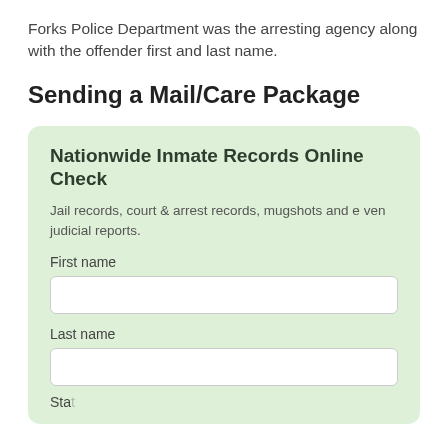Forks Police Department was the arresting agency along with the offender first and last name.
Sending a Mail/Care Package
[Figure (other): Green box widget: Nationwide Inmate Records Online Check — form with First name and Last name input fields and partial State label]
Nationwide Inmate Records Online Check
Jail records, court & arrest records, mugshots and even judicial reports.
First name
Last name
State